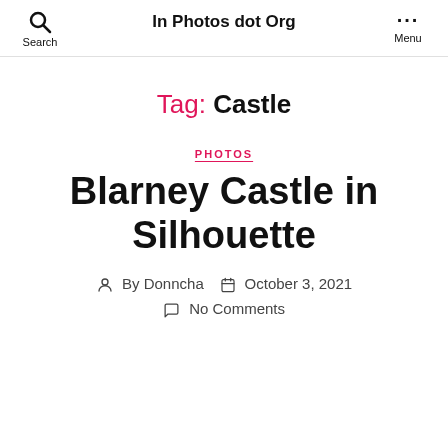In Photos dot Org
Tag: Castle
PHOTOS
Blarney Castle in Silhouette
By Donncha   October 3, 2021
No Comments